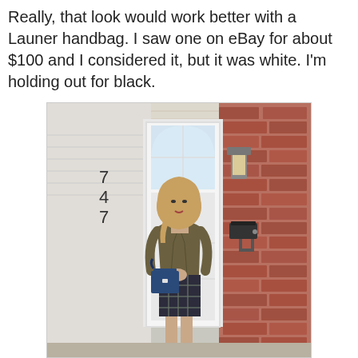Really, that look would work better with a Launer handbag. I saw one on eBay for about $100 and I considered it, but it was white. I'm holding out for black.
[Figure (photo): A woman wearing a tan hijab, olive/brown jacket, plaid skirt, and carrying a blue structured handbag, standing in front of a white front door of a brick house. House number 747 is visible on the left side.]